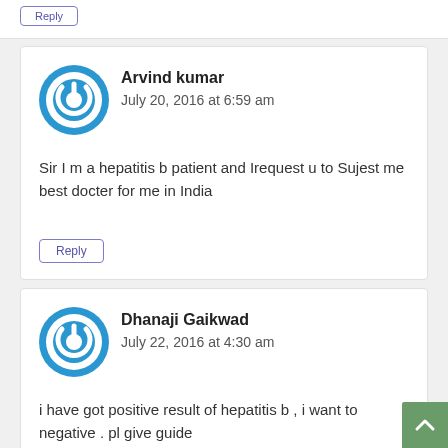Reply
[Figure (illustration): Blue circular power button icon avatar for Arvind kumar]
Arvind kumar
July 20, 2016 at 6:59 am
Sir I m a hepatitis b patient and Irequest u to Sujest me best docter for me in India
Reply
[Figure (illustration): Blue circular power button icon avatar for Dhanaji Gaikwad]
Dhanaji Gaikwad
July 22, 2016 at 4:30 am
i have got positive result of hepatitis b , i want to negative . pl give guide
Reply